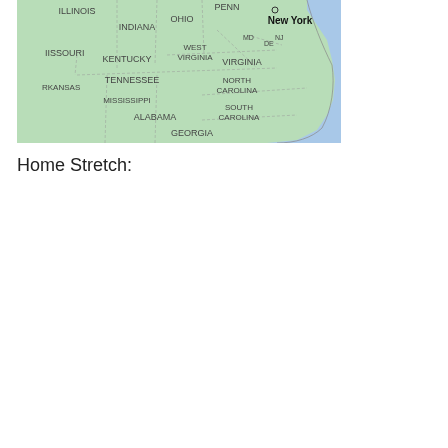[Figure (map): Map of eastern United States showing states including Illinois, Indiana, Ohio, Pennsylvania, New York, Missouri, West Virginia, Kentucky, Virginia, Tennessee, North Carolina, Arkansas, Mississippi, South Carolina, Alabama, Georgia, and parts of Mid-Atlantic states (MD, DE, NJ). The Atlantic Ocean is visible on the right side in blue. New York city is labeled with a circle marker.]
Home Stretch: